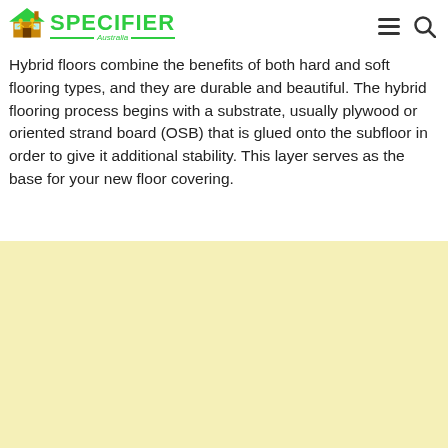SPECIFIER Australia
Hybrid floors combine the benefits of both hard and soft flooring types, and they are durable and beautiful. The hybrid flooring process begins with a substrate, usually plywood or oriented strand board (OSB) that is glued onto the subfloor in order to give it additional stability. This layer serves as the base for your new floor covering.
[Figure (other): Light yellow advertisement block placeholder]